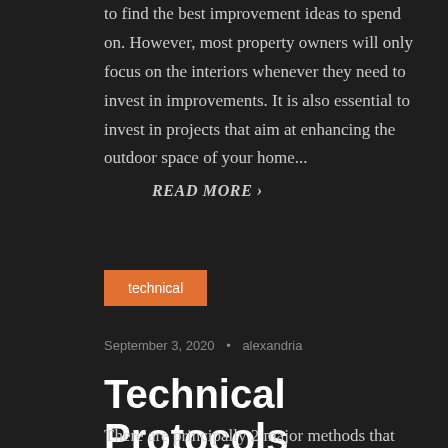to find the best improvement ideas to spend on. However, most property owners will only focus on the interiors whenever they need to invest in improvements. It is also essential to invest in projects that aim at enhancing the outdoor space of your home...
READ MORE ›
technical
September 3, 2020 • alexandria
Technical Protocols
There are principally 2 major methods that Forex traders use to research the market. Over time that followed, I